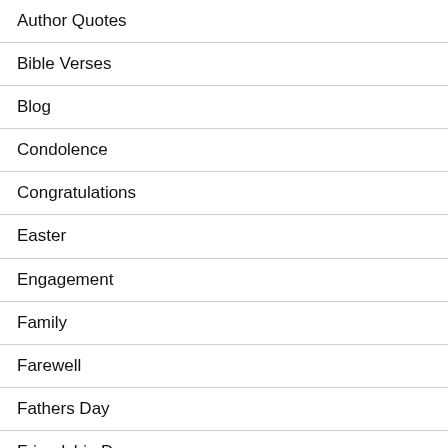Author Quotes
Bible Verses
Blog
Condolence
Congratulations
Easter
Engagement
Family
Farewell
Fathers Day
Friendship Day